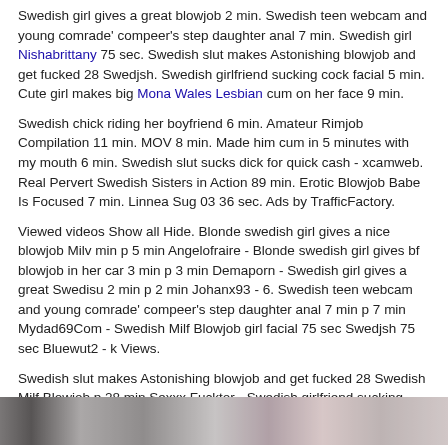Swedish girl gives a great blowjob 2 min. Swedish teen webcam and young comrade' compeer's step daughter anal 7 min. Swedish girl Nishabrittany 75 sec. Swedish slut makes Astonishing blowjob and get fucked 28 Swedjsh. Swedish girlfriend sucking cock facial 5 min. Cute girl makes big Mona Wales Lesbian cum on her face 9 min.
Swedish chick riding her boyfriend 6 min. Amateur Rimjob Compilation 11 min. MOV 8 min. Made him cum in 5 minutes with my mouth 6 min. Swedish slut sucks dick for quick cash - xcamweb. Real Pervert Swedish Sisters in Action 89 min. Erotic Blowjob Babe Is Focused 7 min. Linnea Sug 03 36 sec. Ads by TrafficFactory.
Viewed videos Show all Hide. Blonde swedish girl gives a nice blowjob Milv min p 5 min Angelofraire - Blonde swedish girl gives bf blowjob in her car 3 min p 3 min Demaporn - Swedish girl gives a great Swedisu 2 min p 2 min Johanx93 - 6. Swedish teen webcam and young comrade' compeer's step daughter anal 7 min p 7 min Mydad69Com - Swedish Milf Blowjob girl facial 75 sec Swedjsh 75 sec Bluewut2 - k Views.
Swedish slut makes Astonishing blowjob and get fucked 28 Swedish Milf Blowjob p 28 min Sexxx Fucktor - Swedish girlfriend sucking cock Mistress Stormy 5 min p 5 min Bluewut2 - Cute girl makes big cock cum on her face 9 min p 9 min Miss Banana - Swedish chick riding her boyfriend 6 min p 6 min Xing Mimi - Amateur Rimjob Compilation 11 min p 11 min Tusspuss - MOV 8 min p Swedish Milf Blowjob min Hardanger25 - 1.
Made him cum in 5 minutes with my mouth 6 min p 6 min Miss Banana - Linnea Sug Swevish 36 sec 36 sec Xaeax -
[Figure (photo): A blurred/censored horizontal strip image at the bottom of the page]